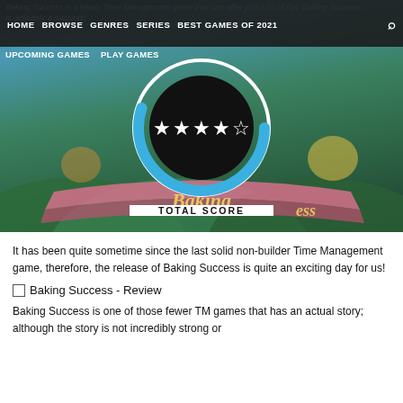HOME  BROWSE  GENRES  SERIES  BEST GAMES OF 2021
[Figure (screenshot): Game banner for Baking Success with a rating circle showing 4 out of 5 stars and TOTAL SCORE label, overlaid navigation bar with HOME, BROWSE, GENRES, SERIES, BEST GAMES OF 2021, UPCOMING GAMES, PLAY GAMES links, and colorful game artwork background]
It has been quite sometime since the last solid non-builder Time Management game, therefore, the release of Baking Success is quite an exciting day for us!
Baking Success - Review
Baking Success is one of those fewer TM games that has an actual story; although the story is not incredibly strong or